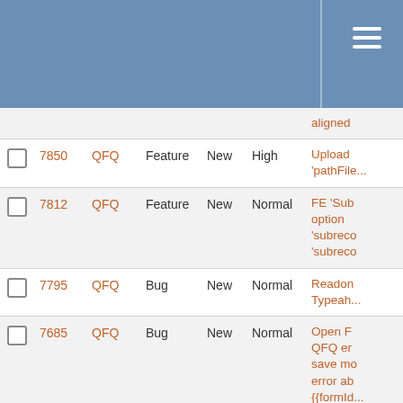|  | # | Project | Tracker | Status | Priority | Subject |
| --- | --- | --- | --- | --- | --- | --- |
|  |  |  |  |  |  | aligned |
| ☐ | 7850 | QFQ | Feature | New | High | Upload 'pathFile... |
| ☐ | 7812 | QFQ | Feature | New | Normal | FE 'Sub option 'subreco 'subreco |
| ☐ | 7795 | QFQ | Bug | New | Normal | Readon Typeah... |
| ☐ | 7685 | QFQ | Bug | New | Normal | Open F QFQ er save mo error ab {{formId... |
| ☐ | 7683 | QFQ | Feature | New | Normal | Special '{{ SELE should b... |
| ☐ | 7681 | QFQ | Feature | New | Normal | Optiona for mod... |
| ☐ | 7660 | QFQ | Feature | New | Normal | IMAP: i move / d Optiona... |